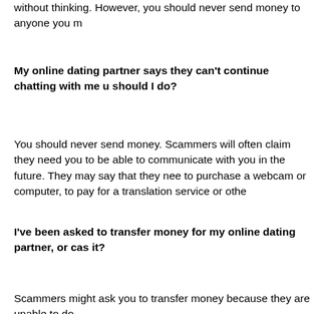without thinking. However, you should never send money to anyone you m
My online dating partner says they can't continue chatting with me u should I do?
You should never send money. Scammers will often claim they need you to be able to communicate with you in the future. They may say that they nee to purchase a webcam or computer, to pay for a translation service or othe
I've been asked to transfer money for my online dating partner, or cas it?
Scammers might ask you to transfer money because they are unable to do